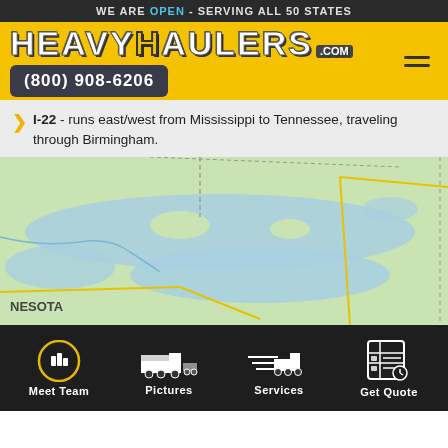WE ARE OPEN - SERVING ALL 50 STATES
[Figure (logo): HeavyHaulers.com logo in bold distressed text on yellow background with phone number (800) 908-6206]
I-22 - runs east/west from Mississippi to Tennessee, traveling through Birmingham.
[Figure (map): Map showing lake/water region with label NESOTA (Minnesota), with roads and borders visible]
Meet Team | Pictures | Services | Get Quote